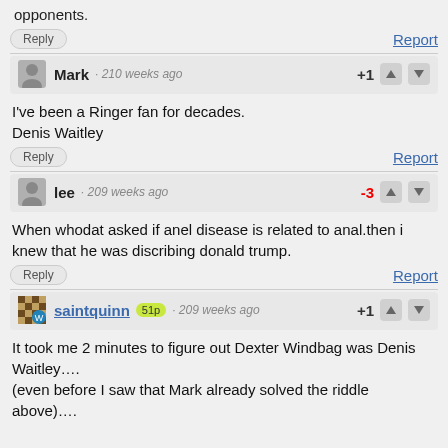opponents.
Reply | Report
Mark · 210 weeks ago +1
I've been a Ringer fan for decades.
Denis Waitley
Reply | Report
lee · 209 weeks ago -3
When whodat asked if anel disease is related to anal.then i knew that he was discribing donald trump.
Reply | Report
saintquinn 51p · 209 weeks ago +1
It took me 2 minutes to figure out Dexter Windbag was Denis Waitley....
(even before I saw that Mark already solved the riddle above)....